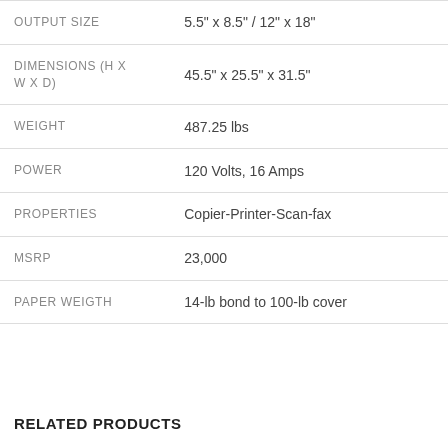| Attribute | Value |
| --- | --- |
| OUTPUT SIZE | 5.5" x 8.5" / 12" x 18" |
| DIMENSIONS (H X W X D) | 45.5" x 25.5" x 31.5" |
| WEIGHT | 487.25 lbs |
| POWER | 120 Volts, 16 Amps |
| PROPERTIES | Copier-Printer-Scan-fax |
| MSRP | 23,000 |
| PAPER WEIGTH | 14-lb bond to 100-lb cover |
RELATED PRODUCTS